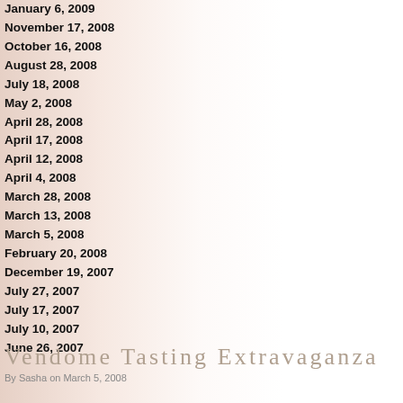January 6, 2009
November 17, 2008
October 16, 2008
August 28, 2008
July 18, 2008
May 2, 2008
April 28, 2008
April 17, 2008
April 12, 2008
April 4, 2008
March 28, 2008
March 13, 2008
March 5, 2008
February 20, 2008
December 19, 2007
July 27, 2007
July 17, 2007
July 10, 2007
June 26, 2007
Vendome Tasting Extravaganza
By Sasha on March 5, 2008